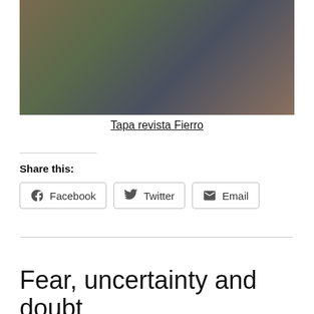[Figure (illustration): Illustrated cover art for Fierro magazine showing a figure with luggage/trunks, in a painterly comic art style]
Tapa revista Fierro
Share this:
Facebook  Twitter  Email
Fear, uncertainty and doubt